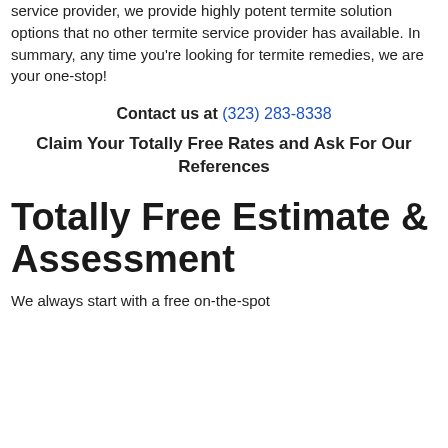the fact that we are a termite and pest control service provider, we provide highly potent termite solution options that no other termite service provider has available. In summary, any time you're looking for termite remedies, we are your one-stop!
Contact us at (323) 283-8338
Claim Your Totally Free Rates and Ask For Our References
Totally Free Estimate & Assessment
We always start with a free on-the-spot